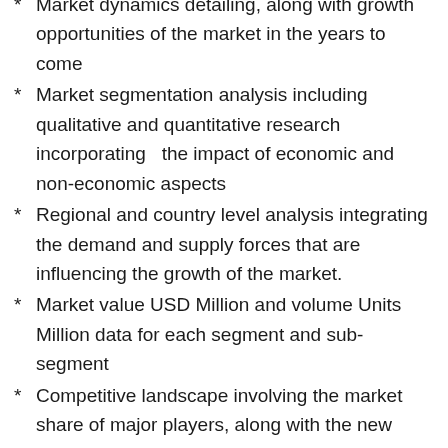Market dynamics detailing, along with growth opportunities of the market in the years to come
Market segmentation analysis including qualitative and quantitative research incorporating the impact of economic and non-economic aspects
Regional and country level analysis integrating the demand and supply forces that are influencing the growth of the market.
Market value USD Million and volume Units Million data for each segment and sub-segment
Competitive landscape involving the market share of major players, along with the new projects and strategies adopted by players in the past five years
Comprehensive company profiles covering the product offerings, key financial information, recent developments, key strategies and future plans